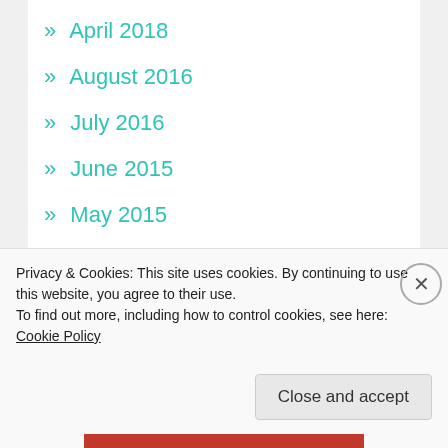» April 2018
» August 2016
» July 2016
» June 2015
» May 2015
» March 2015
» February 2015
» January 2015
» August 2014
» April 2014
» January 2014
Privacy & Cookies: This site uses cookies. By continuing to use this website, you agree to their use.
To find out more, including how to control cookies, see here: Cookie Policy
Close and accept